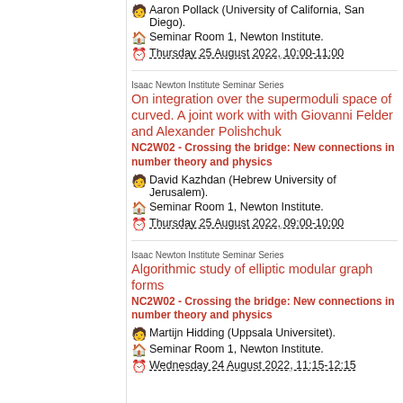Aaron Pollack (University of California, San Diego).
Seminar Room 1, Newton Institute.
Thursday 25 August 2022, 10:00-11:00
Isaac Newton Institute Seminar Series
On integration over the supermoduli space of curved. A joint work with with Giovanni Felder and Alexander Polishchuk
NC2W02 - Crossing the bridge: New connections in number theory and physics
David Kazhdan (Hebrew University of Jerusalem).
Seminar Room 1, Newton Institute.
Thursday 25 August 2022, 09:00-10:00
Isaac Newton Institute Seminar Series
Algorithmic study of elliptic modular graph forms
NC2W02 - Crossing the bridge: New connections in number theory and physics
Martijn Hidding (Uppsala Universitet).
Seminar Room 1, Newton Institute.
Wednesday 24 August 2022, 11:15-12:15